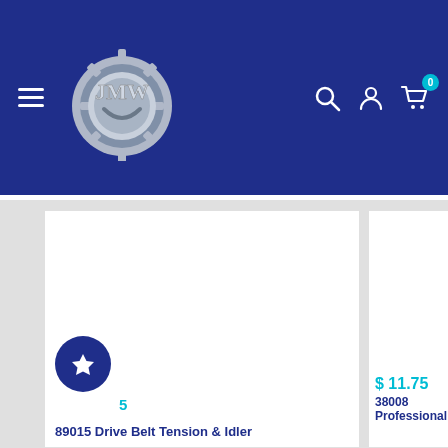JMW store header with logo, hamburger menu, search, account, and cart icons
[Figure (screenshot): Product card 1 - blank product image area with wishlist/favorite star button and product ID 89015, name: 89015 Drive Belt Tension & Idler]
[Figure (screenshot): Product card 2 - blank product image area with price $11.75 and product name: 38008 Professional]